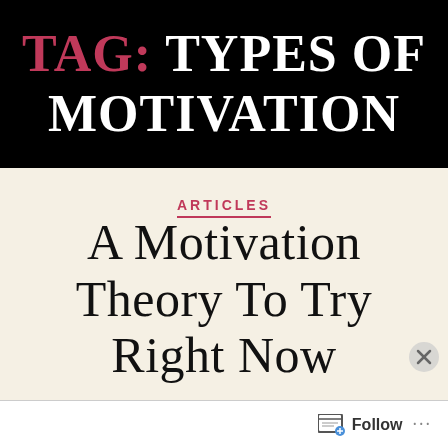Tag: Types of Motivation
ARTICLES
A Motivation Theory To Try Right Now
Advertisements
Follow ...